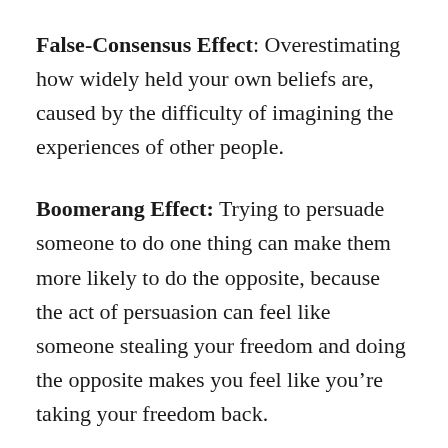False-Consensus Effect: Overestimating how widely held your own beliefs are, caused by the difficulty of imagining the experiences of other people.
Boomerang Effect: Trying to persuade someone to do one thing can make them more likely to do the opposite, because the act of persuasion can feel like someone stealing your freedom and doing the opposite makes you feel like you're taking your freedom back.
Chronological Snobbery: “The assumption that whatever has gone out of date is on that account discredited. You must find why it went out of date